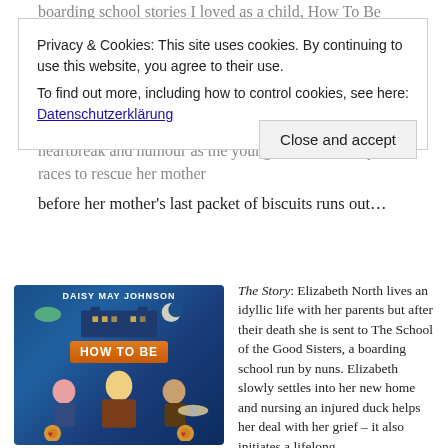boarding school stories I loved as a child, How To Be Brave includes secret tunnels, codebreaking, helicopter flying nuns, fake locks and umpteen delicious references to things and biscuits (including a hidden stash). It's fast paced, middle grade mystery, with its cast of strong, resourceful female characters, intertwines bravery, heartbreak and humour as the young heroine bravely races to rescue her mother before her mother's last packet of biscuits runs out…
Privacy & Cookies: This site uses cookies. By continuing to use this website, you agree to their use.
To find out more, including how to control cookies, see here:
Datenschutzerklärung
before her mother's last packet of biscuits runs out…
[Figure (illustration): Book cover for 'How To Be Brave' by Daisy May Johnson. Blue background with illustrated characters including a blonde girl in the center, two other girls, a helicopter, a duck, biscuits, and a school building at top. Orange banner with 'HOW TO BE' text.]
The Story: Elizabeth North lives an idyllic life with her parents but after their death she is sent to The School of the Good Sisters, a boarding school run by nuns. Elizabeth slowly settles into her new home and nursing an injured duck helps her deal with her grief – it also initiates a lifelong